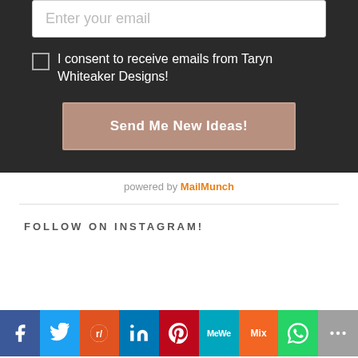Enter your email
I consent to receive emails from Taryn Whiteaker Designs!
Send Me New Ideas!
powered by MailMunch
FOLLOW ON INSTAGRAM!
f  Twitter  Reddit  in  Pinterest  MeWe  Mix  WhatsApp  More